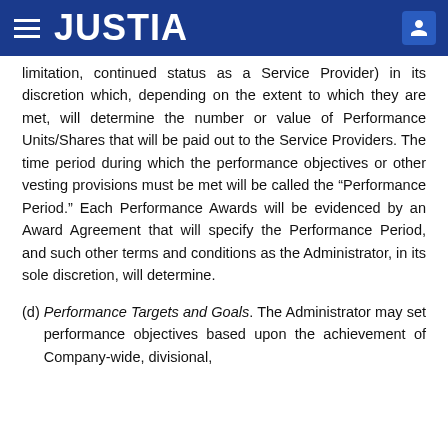JUSTIA
limitation, continued status as a Service Provider) in its discretion which, depending on the extent to which they are met, will determine the number or value of Performance Units/Shares that will be paid out to the Service Providers. The time period during which the performance objectives or other vesting provisions must be met will be called the “Performance Period.” Each Performance Awards will be evidenced by an Award Agreement that will specify the Performance Period, and such other terms and conditions as the Administrator, in its sole discretion, will determine.
(d) Performance Targets and Goals. The Administrator may set performance objectives based upon the achievement of Company-wide, divisional,